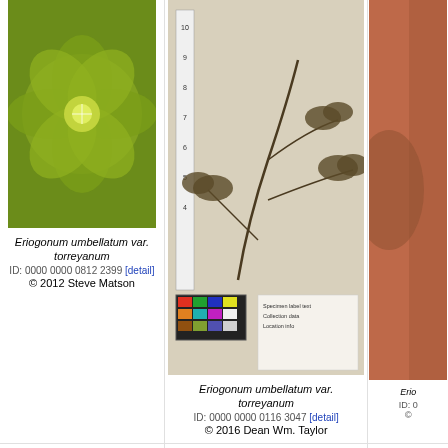[Figure (photo): Close-up of yellow-green Eriogonum umbellatum var. torreyanum flower]
Eriogonum umbellatum var. torreyanum
ID: 0000 0000 0812 2399 [detail]
© 2012 Steve Matson
[Figure (photo): Herbarium specimen of Eriogonum umbellatum var. torreyanum with color chart]
Eriogonum umbellatum var. torreyanum
ID: 0000 0000 0116 3047 [detail]
© 2016 Dean Wm. Taylor
[Figure (photo): Partial view of another Eriogonum specimen (cropped right column)]
Erio...
ID: 0...
©...
[Figure (photo): Rocky hillside with yellow Eriogonum umbellatum var. torreyanum (Donner Pass Buckwheat)]
Eriogonum umbellatum var. torreyanum
Donner Pass Buckwheat
ID: 0000 0000 0820 1483 [detail]
2020 Bob Sweatt
[Figure (photo): Yellow and orange-red Eriogonum umbellatum var. torreyanum flowers (Donner Pass Buckwheat)]
Eriogonum umbellatum var. torreyanum
Donner Pass Buckwheat
ID: 0000 0000 0820 1485 [detail]
2020 Bob Sweatt
[Figure (photo): Partial right column photo (cropped)]
Erio...
D
ID: 0...
[Figure (photo): Bottom left partial photo]
[Figure (photo): Bottom center partial photo]